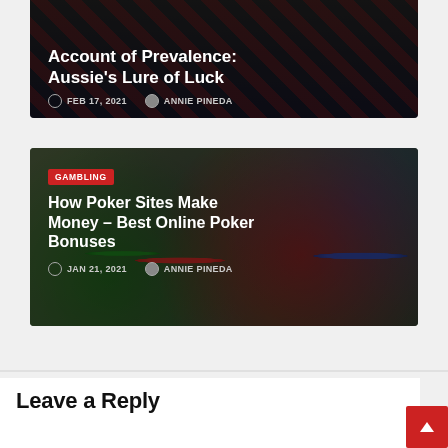[Figure (photo): Partial article card with dark background showing playing cards with diamond suits. Contains article title 'Account of Prevalence: Aussie's Lure of Luck', date Feb 17, 2021, and author Annie Pineda.]
Account of Prevalence: Aussie's Lure of Luck
FEB 17, 2021  ANNIE PINEDA
[Figure (photo): Article card with blurred poker chips in background (red, green, blue, black chips). Contains gambling category badge, article title 'How Poker Sites Make Money – Best Online Poker Bonuses', date Jan 21, 2021, and author Annie Pineda.]
How Poker Sites Make Money – Best Online Poker Bonuses
JAN 21, 2021  ANNIE PINEDA
Leave a Reply